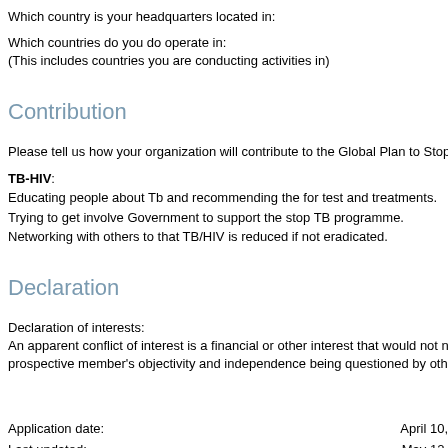Which country is your headquarters located in:
Which countries do you do operate in:
(This includes countries you are conducting activities in)
Contribution
Please tell us how your organization will contribute to the Global Plan to Stop TB by listed below:
TB-HIV:
Educating people about Tb and recommending the for test and treatments.
Trying to get involve Government to support the stop TB programme.
Networking with others to that TB/HIV is reduced if not eradicated.
Declaration
Declaration of interests:
An apparent conflict of interest is a financial or other interest that would not necessa prospective member's objectivity and independence being questioned by others.
Application date:
April 10,
Last updated:
May 12,